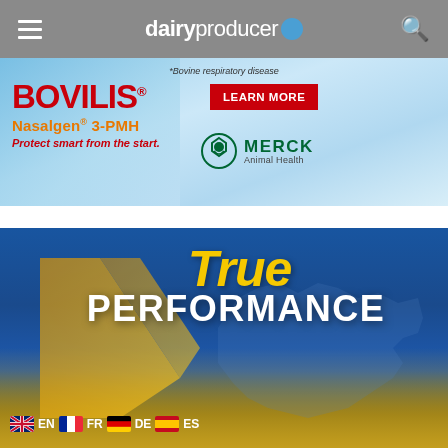dairy producer
[Figure (advertisement): Bovilis Nasalgen 3-PMH advertisement with blue background, red brand text, Learn More button, and Merck Animal Health logo. *Bovine respiratory disease]
[Figure (advertisement): True Performance advertisement showing grain being poured over a map of Canada on a blue background with language flag options EN, FR, DE, ES]